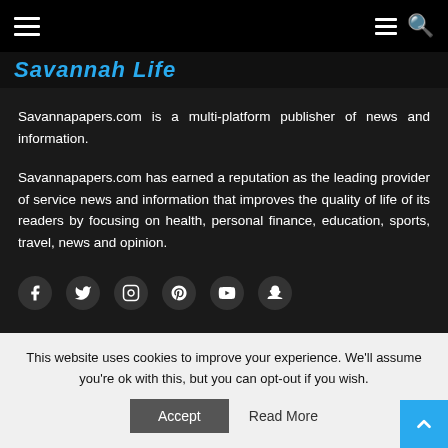Navigation bar with hamburger menu and search icon
Savannah Life
Savannapapers.com is a multi-platform publisher of news and information.
Savannapapers.com has earned a reputation as the leading provider of service news and information that improves the quality of life of its readers by focusing on health, personal finance, education, sports, travel, news and opinion.
[Figure (infographic): Social media icons row: Facebook, Twitter, Instagram, Pinterest, YouTube, Snapchat]
This website uses cookies to improve your experience. We'll assume you're ok with this, but you can opt-out if you wish.